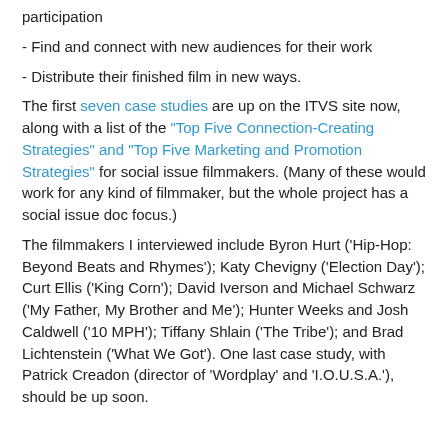participation
- Find and connect with new audiences for their work
- Distribute their finished film in new ways.
The first seven case studies are up on the ITVS site now, along with a list of the "Top Five Connection-Creating Strategies" and "Top Five Marketing and Promotion Strategies" for social issue filmmakers. (Many of these would work for any kind of filmmaker, but the whole project has a social issue doc focus.)
The filmmakers I interviewed include Byron Hurt ('Hip-Hop: Beyond Beats and Rhymes'); Katy Chevigny ('Election Day'); Curt Ellis ('King Corn'); David Iverson and Michael Schwarz ('My Father, My Brother and Me'); Hunter Weeks and Josh Caldwell ('10 MPH'); Tiffany Shlain ('The Tribe'); and Brad Lichtenstein ('What We Got'). One last case study, with Patrick Creadon (director of 'Wordplay' and 'I.O.U.S.A.'), should be up soon.